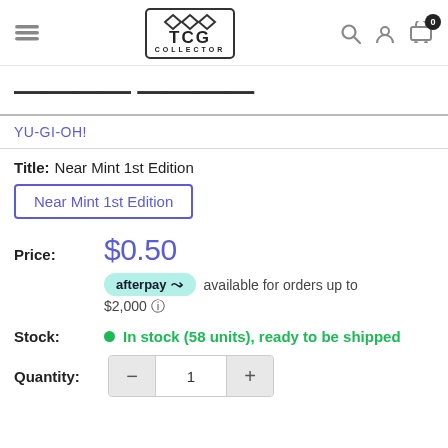TCG Collector — navigation header with search, account, cart (0)
— — — — — — — —
YU-GI-OH!
Title: Near Mint 1st Edition
Near Mint 1st Edition
Price: $0.50
afterpay available for orders up to $2,000
Stock: In stock (58 units), ready to be shipped
Quantity: 1